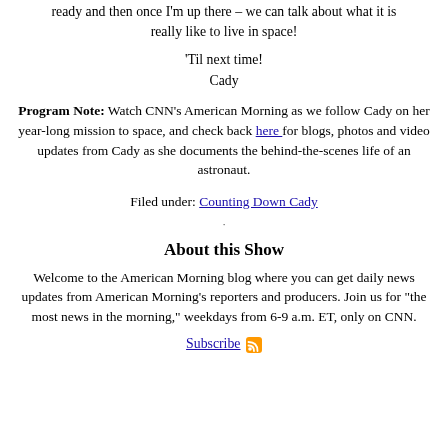ready and then once I'm up there – we can talk about what it is really like to live in space!
'Til next time!
Cady
Program Note: Watch CNN's American Morning as we follow Cady on her year-long mission to space, and check back here for blogs, photos and video updates from Cady as she documents the behind-the-scenes life of an astronaut.
Filed under: Counting Down Cady
About this Show
Welcome to the American Morning blog where you can get daily news updates from American Morning's reporters and producers. Join us for "the most news in the morning," weekdays from 6-9 a.m. ET, only on CNN.
Subscribe